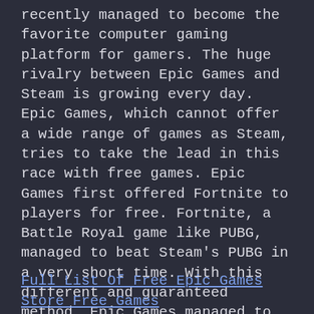recently managed to become the favorite computer gaming platform for gamers. The huge rivalry between Epic Games and Steam is growing every day. Epic Games, which cannot offer a wide range of games as Steam, tries to take the lead in this race with free games. Epic Games first offered Fortnite to players for free. Fortnite, a Battle Royal game like PUBG, managed to beat Steam's PUBG in a very short time. With this different and guaranteed method, Epic Games managed to attract the attention of the players. Epic Games did not prick about free games. This played a very important role in passing Steam. On average, it continues to distribute 3 games a week for free.
Full List Of Free Epic Games Store Free Games